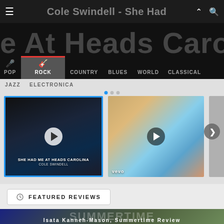Cole Swindell - She Had
[Figure (screenshot): Music website genre navigation banner showing 'e At Heads Carolina' text overlay with genre tabs: POP, ROCK (active/selected), COUNTRY, BLUES, WORLD, CLASSICAL]
[Figure (screenshot): Video carousel row showing two video thumbnails. Left: 'SHE HAD ME AT HEADS CAROLINA' by Cole Swindell with play button, highlighted with blue border. Right: beach/summer music video with play button and vevo badge. Genre labels: JAZZ, ELECTRONICA]
FEATURED REVIEWS
[Figure (screenshot): Featured review card showing 'Isata Kanneh-Mason, Summertime Review' with album art background showing SUMMERTIME text and ISATA KANNEH-MASON artist name]